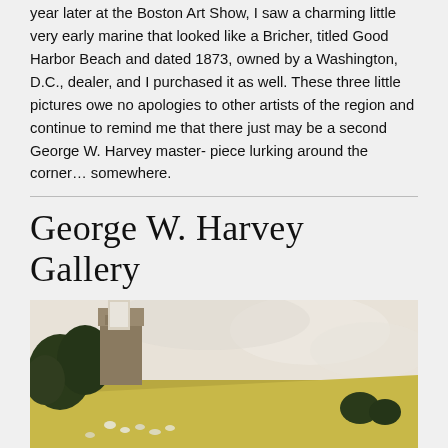year later at the Boston Art Show, I saw a charming little very early marine that looked like a Bricher, titled Good Harbor Beach and dated 1873, owned by a Washington, D.C., dealer, and I purchased it as well. These three little pictures owe no apologies to other artists of the region and continue to remind me that there just may be a second George W. Harvey master- piece lurking around the corner… somewhere.
George W. Harvey Gallery
[Figure (photo): A painting showing a pastoral landscape with a stone building or tower, dark trees on the left, golden fields with small white animals (possibly sheep), rendered in an impressionistic style.]